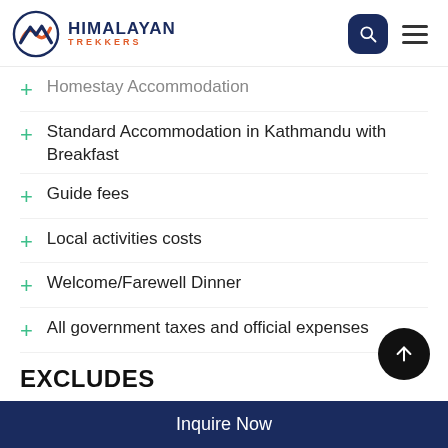Himalayan Trekkers
Homestay Accommodation
Standard Accommodation in Kathmandu with Breakfast
Guide fees
Local activities costs
Welcome/Farewell Dinner
All government taxes and official expenses
EXCLUDES
International airfares and airport tax
Nepal Entry Visa Fees (USD 25- 15 Days,
Inquire Now